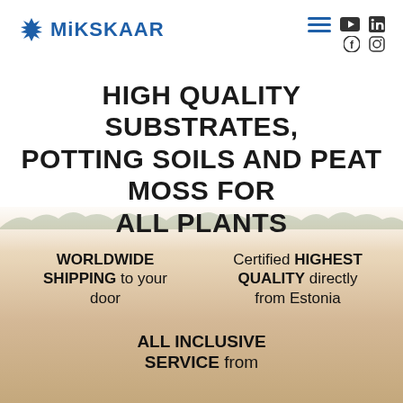MIKSKAAR — navigation with hamburger menu, YouTube, LinkedIn, Facebook, Instagram icons
HIGH QUALITY SUBSTRATES, POTTING SOILS AND PEAT MOSS FOR ALL PLANTS
[Figure (photo): Misty peat field landscape in Estonia, viewed from ground level with distant treeline silhouette]
WORLDWIDE SHIPPING to your door
Certified HIGHEST QUALITY directly from Estonia
ALL INCLUSIVE SERVICE from